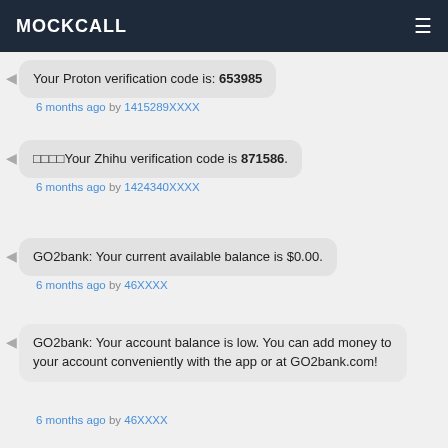MOCKCALL
Your Proton verification code is: 653985
6 months ago by 1415289XXXX
□□□□Your Zhihu verification code is 871586.
6 months ago by 1424340XXXX
GO2bank: Your current available balance is $0.00.
6 months ago by 46XXXX
GO2bank: Your account balance is low. You can add money to your account conveniently with the app or at GO2bank.com!
6 months ago by 46XXXX